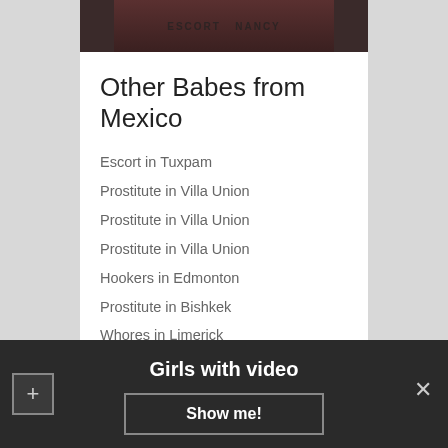[Figure (photo): Partial photo of a person, dark background with watermark text]
Other Babes from Mexico
Escort in Tuxpam
Prostitute in Villa Union
Prostitute in Villa Union
Prostitute in Villa Union
Hookers in Edmonton
Prostitute in Bishkek
Whores in Limerick
Slut in MISSISSAUGA
Sex for money in Jacmel
Erotic massage in Melo
Sex girl in Leicester
Sex for money in Chitre
Girls with video
Show me!